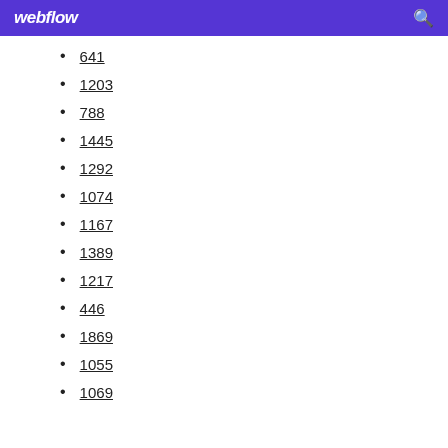webflow
641
1203
788
1445
1292
1074
1167
1389
1217
446
1869
1055
1069